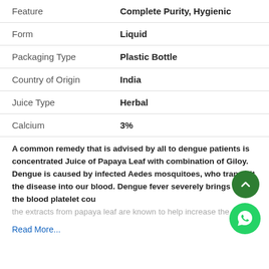| Feature | Value |
| --- | --- |
| Feature | Complete Purity, Hygienic |
| Form | Liquid |
| Packaging Type | Plastic Bottle |
| Country of Origin | India |
| Juice Type | Herbal |
| Calcium | 3% |
A common remedy that is advised by all to dengue patients is concentrated Juice of Papaya Leaf with combination of Giloy. Dengue is caused by infected Aedes mosquitoes, who transmit the disease into our blood. Dengue fever severely brings down the blood platelet cou... the extracts from papaya leaf are known to help increase the cou...
Read More...